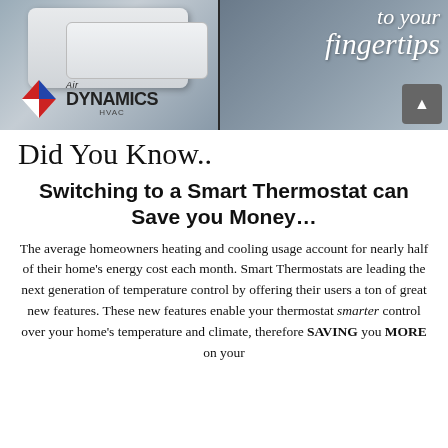[Figure (photo): Split hero image: left side shows a smart thermostat on a metallic wall with Air Dynamics HVAC logo; right side shows a person relaxing with italic script text reading 'to your fingertips']
Did You Know..
Switching to a Smart Thermostat can Save you Money…
The average homeowners heating and cooling usage account for nearly half of their home's energy cost each month. Smart Thermostats are leading the next generation of temperature control by offering their users a ton of great new features. These new features enable your thermostat smarter control over your home's temperature and climate, therefore SAVING you MORE on your